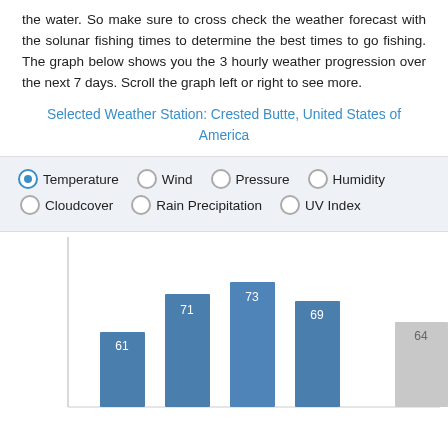the water. So make sure to cross check the weather forecast with the solunar fishing times to determine the best times to go fishing. The graph below shows you the 3 hourly weather progression over the next 7 days. Scroll the graph left or right to see more.
Selected Weather Station: Crested Butte, United States of America
Temperature (selected), Wind, Pressure, Humidity, Cloudcover, Rain Precipitation, UV Index
[Figure (bar-chart): Temperature]